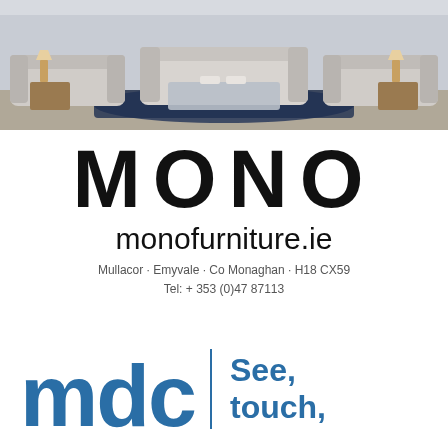[Figure (photo): Interior living room scene showing upholstered sofas, a glass coffee table, a blue patterned rug, and side tables with lamps — a furniture showroom display.]
MONO
monofurniture.ie
Mullacor · Emyvale · Co Monaghan · H18 CX59
Tel: + 353 (0)47 87113
[Figure (logo): mdc logo in blue with a vertical divider bar and tagline 'See, touch,' in blue text]